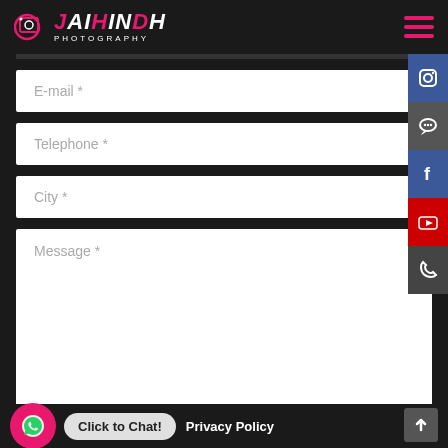[Figure (logo): Jai Hindh Photography logo — camera icon with pink and white text, 'JAIHINDH' in large italic font, 'PHOTOGRAPHY' in small caps below]
[Figure (infographic): Hamburger menu icon with three horizontal pink lines on dark background]
E-mail *
Telephone *
City *
Message *
[Figure (infographic): Vertical social media sidebar with icons: Instagram (dark blue), chat bubble (grey), Facebook (dark blue), YouTube (red), Phone (dark grey)]
Click to Chat!
Privacy Policy